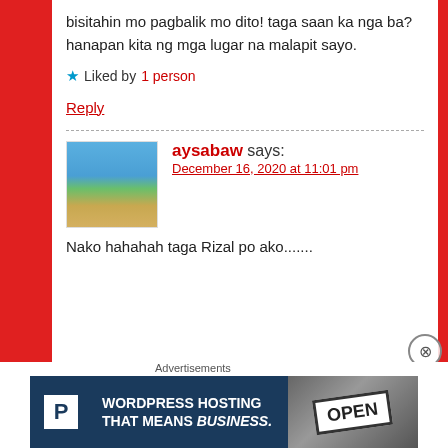bisitahin mo pagbalik mo dito! taga saan ka nga ba?hanapan kita ng mga lugar na malapit sayo.
★ Liked by 1 person
Reply
aysabaw says:
December 16, 2020 at 11:01 pm
Nako hahahah taga Rizal po ako.......
Advertisements
[Figure (infographic): WordPress Hosting That Means Business advertisement banner with P logo and OPEN sign photo]